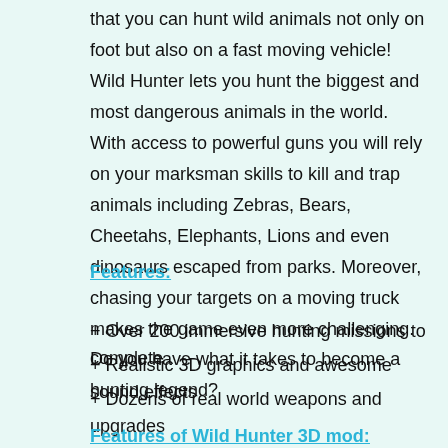that you can hunt wild animals not only on foot but also on a fast moving vehicle! Wild Hunter lets you hunt the biggest and most dangerous animals in the world. With access to powerful guns you will rely on your marksman skills to kill and trap animals including Zebras, Bears, Cheetahs, Elephants, Lions and even dinosaurs escaped from parks. Moreover, chasing your targets on a moving truck makes the game even more challenging. Do you have what it takes to become a hunting legend?
Features:
+ Over 200 immersive hunting missions to complete
+ Realistic 3D graphics and awesome sound effects
+ Dozens of real world weapons and upgrades
Features of Wild Hunter 3D mod: